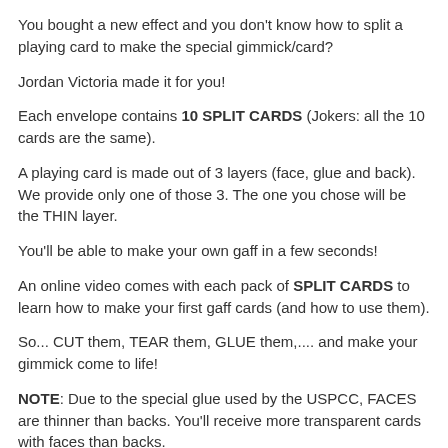You bought a new effect and you don't know how to split a playing card to make the special gimmick/card?
Jordan Victoria made it for you!
Each envelope contains 10 SPLIT CARDS (Jokers: all the 10 cards are the same).
A playing card is made out of 3 layers (face, glue and back). We provide only one of those 3. The one you chose will be the THIN layer.
You'll be able to make your own gaff in a few seconds!
An online video comes with each pack of SPLIT CARDS to learn how to make your first gaff cards (and how to use them).
So... CUT them, TEAR them, GLUE them,.... and make your gimmick come to life!
NOTE: Due to the special glue used by the USPCC, FACES are thinner than backs. You'll receive more transparent cards with faces than backs.
INCLUDED IN EACH PACK:
5 classic ideas to begin with your Split Cards.